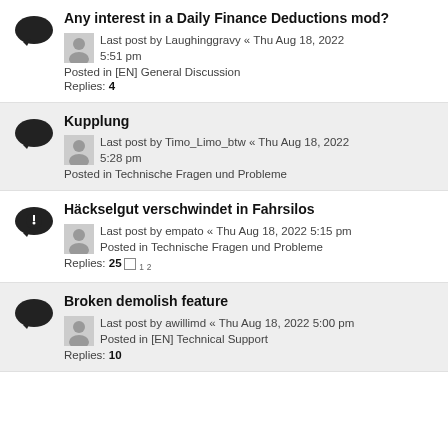Any interest in a Daily Finance Deductions mod?
Last post by Laughinggravy « Thu Aug 18, 2022 5:51 pm
Posted in [EN] General Discussion
Replies: 4
Kupplung
Last post by Timo_Limo_btw « Thu Aug 18, 2022 5:28 pm
Posted in Technische Fragen und Probleme
Häckselgut verschwindet in Fahrsilos
Last post by empato « Thu Aug 18, 2022 5:15 pm
Posted in Technische Fragen und Probleme
Replies: 25 1 2
Broken demolish feature
Last post by awillimd « Thu Aug 18, 2022 5:00 pm
Posted in [EN] Technical Support
Replies: 10